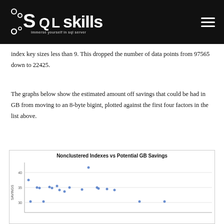SQLskills — immerse yourself in sql server
index key sizes less than 9. This dropped the number of data points from 97565 down to 22425.
The graphs below show the estimated amount off savings that could be had in GB from moving to an 8-byte bigint, plotted against the first four factors in the list above.
[Figure (continuous-plot): Scatter plot showing Nonclustered Indexes on x-axis vs Potential GB Savings (y-axis, labeled SAVINGS) with values ranging approximately 30-42 GB, data points clustered at lower x values with a few outliers.]